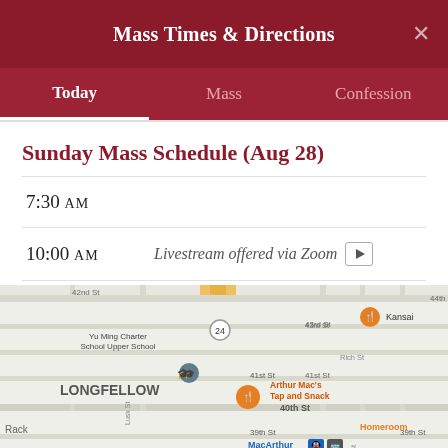Mass Times & Directions
Today | Mass | Confession
Sunday Mass Schedule (Aug 28)
7:30 AM
10:00 AM  Livestream offered via Zoom
[Figure (map): Street map showing MacArthur area in Oakland/Longfellow neighborhood, with streets including 39th St, 40th St, 41st St, 42nd St, 43rd St, 44th St, Lusk St, Clarke St, Ruby St, McArthur Blvd; landmarks include Yu Ming Charter School Upper School, Arthur Mac's Tap and Snack, Kansai, Homeroom, Exxon, MacArthur (transit station); Highway 24 visible.]